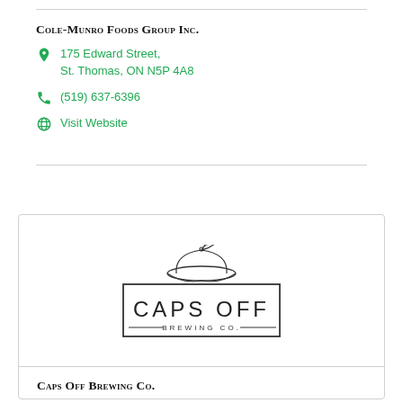Cole-Munro Foods Group Inc.
175 Edward Street, St. Thomas, ON N5P 4A8
(519) 637-6396
Visit Website
[Figure (logo): Caps Off Brewing Co. logo — a cap/beret illustration above a rectangular border containing the text CAPS OFF BREWING CO.]
Caps Off Brewing Co.